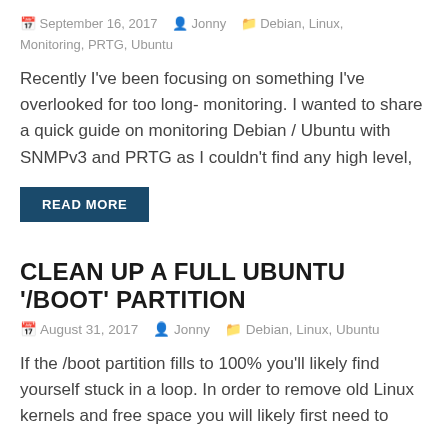September 16, 2017  Jonny  Debian, Linux, Monitoring, PRTG, Ubuntu
Recently I've been focusing on something I've overlooked for too long- monitoring. I wanted to share a quick guide on monitoring Debian / Ubuntu with SNMPv3 and PRTG as I couldn't find any high level,
READ MORE
CLEAN UP A FULL UBUNTU '/BOOT' PARTITION
August 31, 2017  Jonny  Debian, Linux, Ubuntu
If the /boot partition fills to 100% you'll likely find yourself stuck in a loop. In order to remove old Linux kernels and free space you will likely first need to